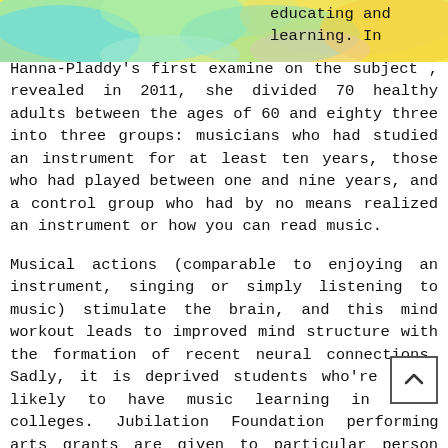[Figure (illustration): Colorful swirling illustration with yellow, teal and pink tones, partially visible at the top of the page, showing what appears to be hair or feathers.]
educating and learning. In Hanna-Pladdy's first examine on the subject , revealed in 2011, she divided 70 healthy adults between the ages of 60 and eighty three into three groups: musicians who had studied an instrument for at least ten years, those who had played between one and nine years, and a control group who had by no means realized an instrument or how you can read music.
Musical actions (comparable to enjoying an instrument, singing or simply listening to music) stimulate the brain, and this mind workout leads to improved mind structure with the formation of recent neural connections. Sadly, it is deprived students who're least likely to have music learning in their colleges. Jubilation Foundation performing arts grants are given to particular person artists w an distinctive talent for helping young people really